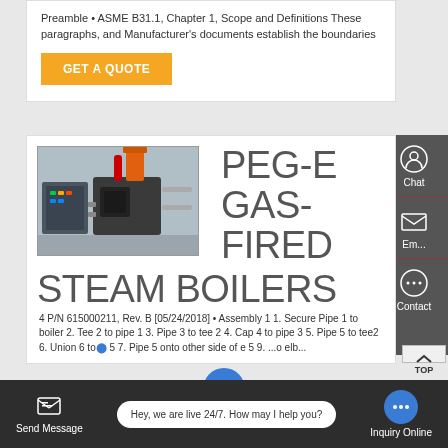Preamble • ASME B31.1, Chapter 1, Scope and Definitions These paragraphs, and Manufacturer's documents establish the boundaries
GET A QUOTE
[Figure (photo): Industrial gas-fired steam boiler unit with orange cylindrical stack, black machinery body, and control panel in background]
PEG-E GAS-FIRED STEAM BOILERS
4 P/N 615000211, Rev. B [05/24/2018] • Assembly 1 1. Secure Pipe 1 to boiler 2. Tee 2 to pipe 1 3. Pipe 3 to tee 2 4. Cap 4 to pipe 3 5. Pipe 5 to tee2 6. Union 6 to ... 5 7. Pipe 5 onto other side of ... e 5 9. ...o elb...
Chat
Email
Contact
TOP
Send Message
Hey, we are live 24/7. How may I help you?
Inquiry Online